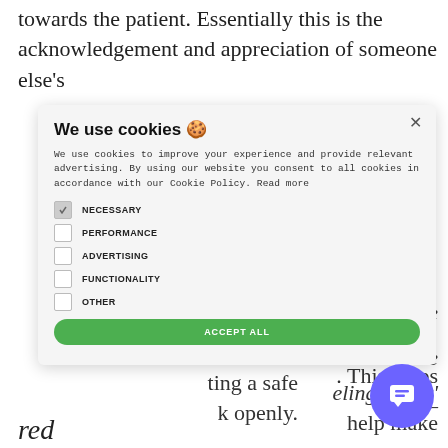towards the patient. Essentially this is the acknowledgement and appreciation of someone else's
[Figure (screenshot): Cookie consent modal dialog showing 'We use cookies' title with cookie emoji, body text about cookie usage, checkboxes for NECESSARY (checked), PERFORMANCE, ADVERTISING, FUNCTIONALITY, OTHER, and a green ACCEPT ALL button with an X close button in top right corner.]
nderstandable
at the
eling angry'
help make
. This helps
ient –
ting a safe
k openly.
red